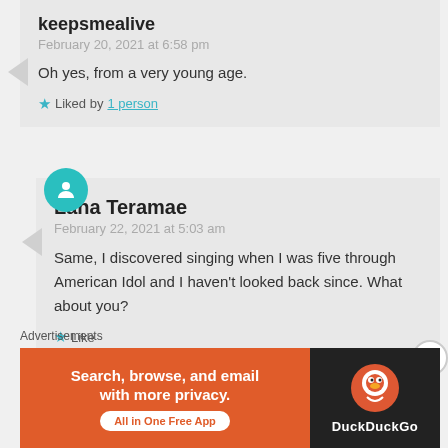keepsmealive
February 20, 2021 at 6:58 pm

Oh yes, from a very young age.

★ Liked by 1 person
Lana Teramae
February 22, 2021 at 5:03 am

Same, I discovered singing when I was five through American Idol and I haven't looked back since. What about you?

★ Like
Advertisements
[Figure (infographic): DuckDuckGo advertisement banner: orange section with text 'Search, browse, and email with more privacy. All in One Free App' and dark section with DuckDuckGo logo and brand name]